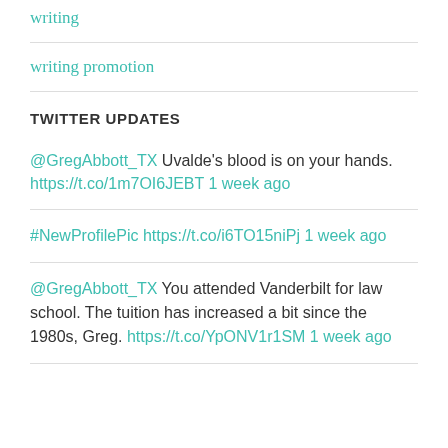writing
writing promotion
TWITTER UPDATES
@GregAbbott_TX Uvalde's blood is on your hands. https://t.co/1m7OI6JEBT 1 week ago
#NewProfilePic https://t.co/i6TO15niPj 1 week ago
@GregAbbott_TX You attended Vanderbilt for law school. The tuition has increased a bit since the 1980s, Greg. https://t.co/YpONV1r1SM 1 week ago